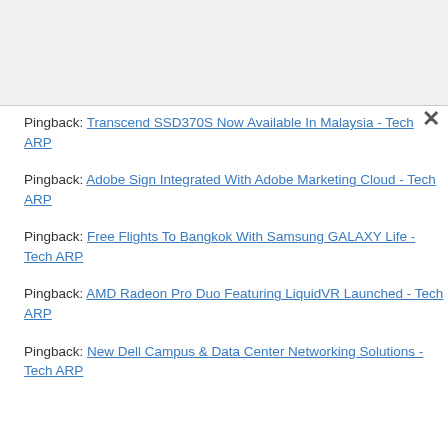Pingback: Transcend SSD370S Now Available In Malaysia - Tech ARP
Pingback: Adobe Sign Integrated With Adobe Marketing Cloud - Tech ARP
Pingback: Free Flights To Bangkok With Samsung GALAXY Life - Tech ARP
Pingback: AMD Radeon Pro Duo Featuring LiquidVR Launched - Tech ARP
Pingback: New Dell Campus & Data Center Networking Solutions - Tech ARP